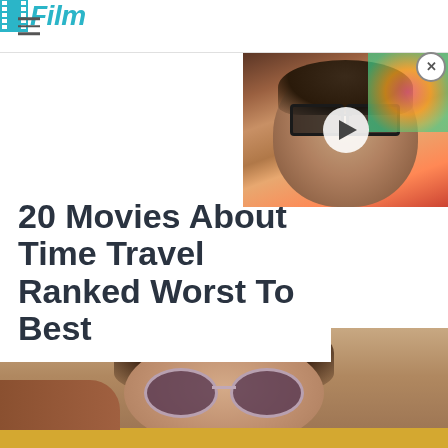/Film
[Figure (screenshot): Video thumbnail of a man with glasses looking surprised, with a play button overlay]
20 Movies About Time Travel Ranked Worst To Best
[Figure (photo): Close-up photo of a young man with curly brown hair wearing round pink/mauve sunglasses, smiling slightly, with a yellow surface in the background]